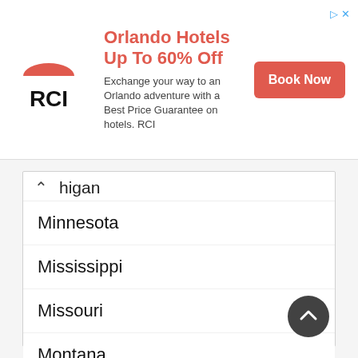[Figure (screenshot): RCI advertisement banner showing Orlando Hotels Up To 60% Off with Book Now button]
higan
Minnesota
Mississippi
Missouri
Montana
Nebraska
Nevada
New Hampshire
New Jersey
New Mexico